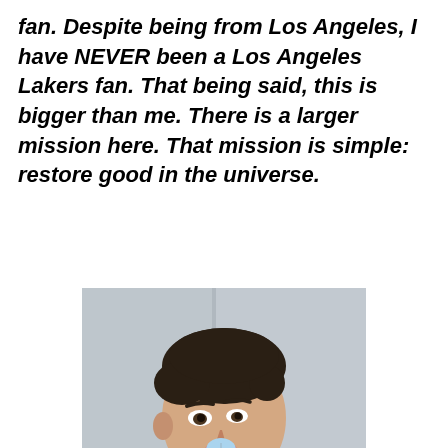fan. Despite being from Los Angeles, I have NEVER been a Los Angeles Lakers fan. That being said, this is bigger than me. There is a larger mission here. That mission is simple: restore good in the universe.
[Figure (photo): A young man in a purple sleeveless jersey holding a microphone up to his mouth, facing slightly to the right. He has short dark hair and appears to be speaking or being interviewed.]